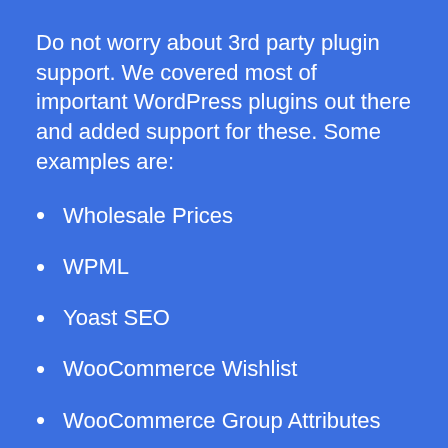Do not worry about 3rd party plugin support. We covered most of important WordPress plugins out there and added support for these. Some examples are:
Wholesale Prices
WPML
Yoast SEO
WooCommerce Wishlist
WooCommerce Group Attributes
and more …